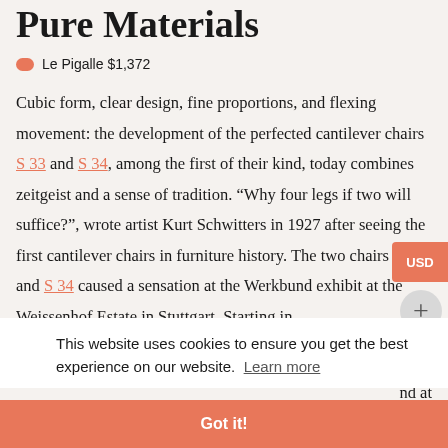Pure Materials
Le Pigalle $1,372
Cubic form, clear design, fine proportions, and flexing movement: the development of the perfected cantilever chairs S 33 and S 34, among the first of their kind, today combines zeitgeist and a sense of tradition. “Why four legs if two will suffice?”, wrote artist Kurt Schwitters in 1927 after seeing the first cantilever chairs in furniture history. The two chairs S 33 and S 34 caused a sensation at the Werkbund exhibit at the Weissenhof Estate in Stuttgart. Starting in
nd at
chairs
ciple
This website uses cookies to ensure you get the best experience on our website. Learn more
Got it!